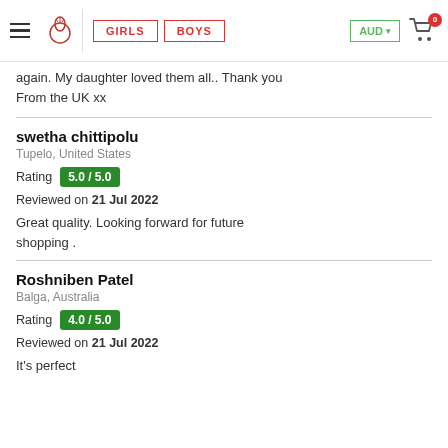GIRLS | BOYS | AUD | 0
again. My daughter loved them all.. Thank you
From the UK xx
swetha chittipolu
Tupelo, United States
Rating 5.0 / 5.0
Reviewed on 21 Jul 2022
Great quality. Looking forward for future shopping .
Roshniben Patel
Balga, Australia
Rating 4.0 / 5.0
Reviewed on 21 Jul 2022
It's perfect